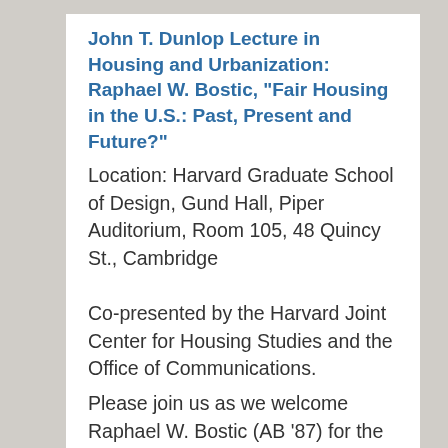John T. Dunlop Lecture in Housing and Urbanization: Raphael W. Bostic, "Fair Housing in the U.S.: Past, Present and Future?"
Location: Harvard Graduate School of Design, Gund Hall, Piper Auditorium, Room 105, 48 Quincy St., Cambridge
Co-presented by the Harvard Joint Center for Housing Studies and the Office of Communications.
Please join us as we welcome Raphael W. Bostic (AB '87) for the annual John T. Dunlop Lecture